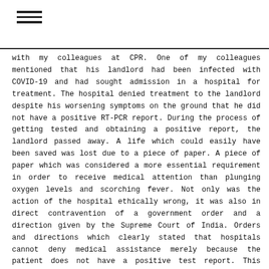≡
with my colleagues at CPR. One of my colleagues mentioned that his landlord had been infected with COVID-19 and had sought admission in a hospital for treatment. The hospital denied treatment to the landlord despite his worsening symptoms on the ground that he did not have a positive RT-PCR report. During the process of getting tested and obtaining a positive report, the landlord passed away. A life which could easily have been saved was lost due to a piece of paper. A piece of paper which was considered a more essential requirement in order to receive medical attention than plunging oxygen levels and scorching fever. Not only was the action of the hospital ethically wrong, it was also in direct contravention of a government order and a direction given by the Supreme Court of India. Orders and directions which clearly stated that hospitals cannot deny medical assistance merely because the patient does not have a positive test report. This essential right to seek medical attention was not known to the landlord due to a lack of access and dissemination. The rights and procedures created to protect the